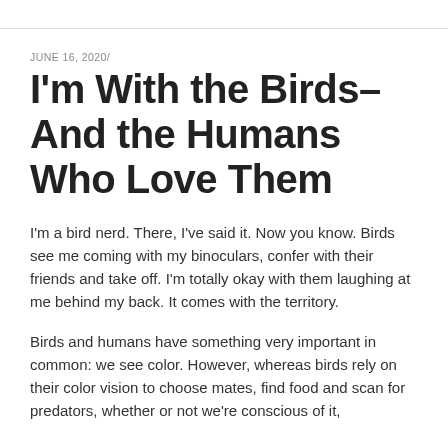JUNE 16, 2020/
I'm With the Birds–And the Humans Who Love Them
I'm a bird nerd. There, I've said it. Now you know. Birds see me coming with my binoculars, confer with their friends and take off. I'm totally okay with them laughing at me behind my back. It comes with the territory.
Birds and humans have something very important in common: we see color. However, whereas birds rely on their color vision to choose mates, find food and scan for predators, whether or not we're conscious of it,